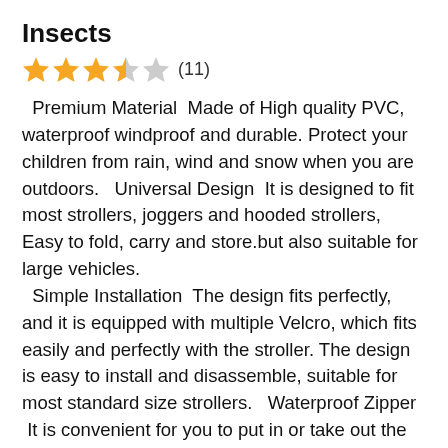Insects
[Figure (other): Star rating: 3.5 out of 5 stars (11 reviews)]
Premium Material Made of High quality PVC, waterproof windproof and durable. Protect your children from rain, wind and snow when you are outdoors. Universal Design It is designed to fit most strollers, joggers and hooded strollers, Easy to fold, carry and store.but also suitable for large vehicles. Simple Installation The design fits perfectly, and it is equipped with multiple Velcro, which fits easily and perfectly with the stroller. The design is easy to install and disassemble, suitable for most standard size strollers. Waterproof Zipper It is convenient for you to put in or take out the baby and take care of your baby. Waterproof zipper design, effectively and comprehensively block the infiltration of rainwater. Stroller rain cover has perforated vents on both sides to facilitate air circulation. Transparent Design The